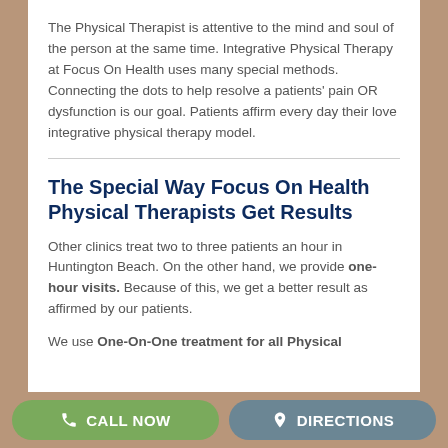The Physical Therapist is attentive to the mind and soul of the person at the same time. Integrative Physical Therapy at Focus On Health uses many special methods.  Connecting the dots to help resolve a patients' pain OR dysfunction is our goal. Patients affirm every day their love integrative physical therapy model.
The Special Way Focus On Health Physical Therapists Get Results
Other clinics treat two to three patients an hour in Huntington Beach. On the other hand, we provide one-hour visits. Because of this, we get a better result as affirmed by our patients.
We use One-On-One treatment for all Physical